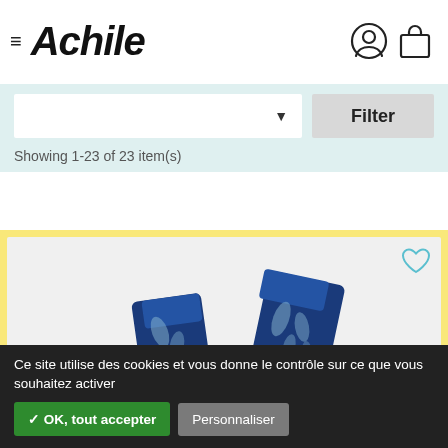Achile
Showing 1-23 of 23 item(s)
[Figure (photo): Product photo of blue patterned socks with leaf/floral design, displayed on a white background inside a yellow-bordered product card. A heart/wishlist icon is visible in the top right corner.]
Ce site utilise des cookies et vous donne le contrôle sur ce que vous souhaitez activer ✓ OK, tout accepter Personnaliser